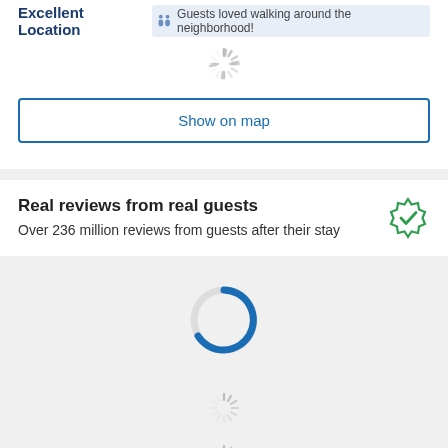Excellent Location
Guests loved walking around the neighborhood!
[Figure (other): Small loading spinner (gray radial lines)]
[Figure (other): Show on map button]
Real reviews from real guests
Over 236 million reviews from guests after their stay
[Figure (other): Green verified/checkmark badge icon]
[Figure (other): Large blue and gray circular loading spinner]
[Figure (other): Small loading spinner (gray radial lines)]
[Figure (other): Small loading spinner (gray radial lines)]